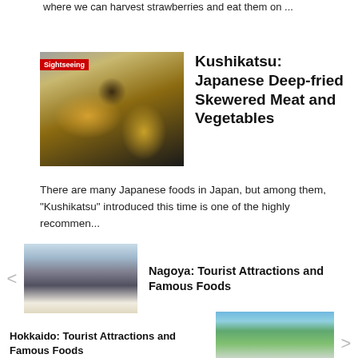where we can harvest strawberries and eat them on ...
[Figure (photo): Photo of Kushikatsu - Japanese deep-fried skewered meat and vegetables on a plate, with a Sightseeing badge]
Kushikatsu: Japanese Deep-fried Skewered Meat and Vegetables
There are many Japanese foods in Japan, but among them, "Kushikatsu" introduced this time is one of the highly recommen...
[Figure (photo): Photo of Nagoya castle with cherry blossoms]
Nagoya: Tourist Attractions and Famous Foods
Hokkaido: Tourist Attractions and Famous Foods
[Figure (photo): Photo of Hokkaido cityscape with tower and green park]